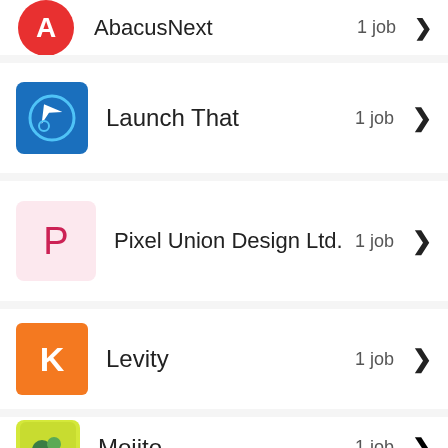AbacusNext · 1 job
Launch That · 1 job
Pixel Union Design Ltd. · 1 job
Levity · 1 job
Mojito · 1 job